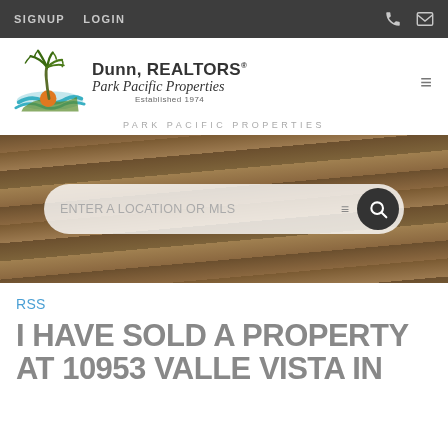SIGNUP  LOGIN
[Figure (logo): Dunn REALTORS Park Pacific Properties logo with palm tree, ocean wave, and orange sun. Established 1974.]
PARK PACIFIC PROPERTIES
[Figure (screenshot): Hero image showing wooden door/wall background with a search bar overlay reading ENTER A LOCATION OR MLS with filter and search icons]
RSS
I HAVE SOLD A PROPERTY AT 10953 VALLE VISTA IN